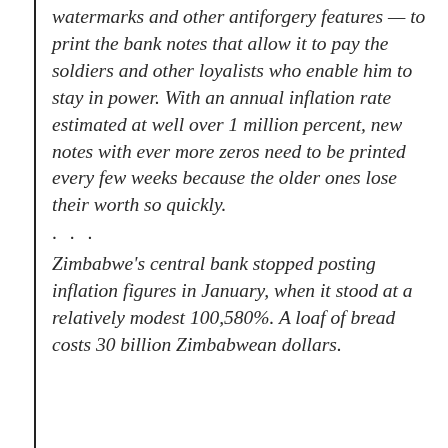watermarks and other antiforgery features — to print the bank notes that allow it to pay the soldiers and other loyalists who enable him to stay in power. With an annual inflation rate estimated at well over 1 million percent, new notes with ever more zeros need to be printed every few weeks because the older ones lose their worth so quickly.
· · ·
Zimbabwe's central bank stopped posting inflation figures in January, when it stood at a relatively modest 100,580%. A loaf of bread costs 30 billion Zimbabwean dollars.